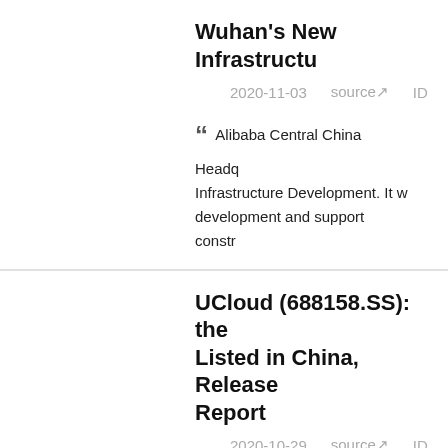Wuhan's New Infrastructure Development
2020-11-03   source↗   ID
" Alibaba Central China Headquarters Infrastructure Development. It was development and support construction
UCloud (688158.SS): the Listed in China, Released Report
2020-10-29   source↗   ID
" Operating Revenue: CNY 1.6 Quarterly Operating Revenue: C "
The 15 Most Beautiful Da